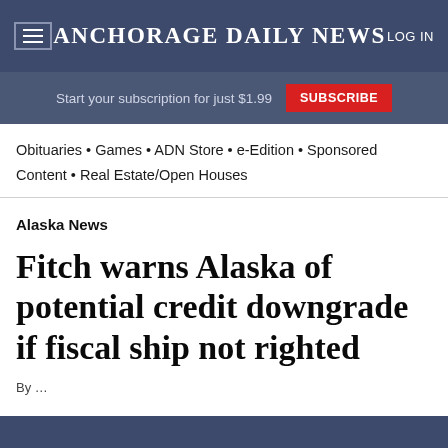Anchorage Daily News
Start your subscription for just $1.99  SUBSCRIBE
Obituaries • Games • ADN Store • e-Edition • Sponsored Content • Real Estate/Open Houses
Alaska News
Fitch warns Alaska of potential credit downgrade if fiscal ship not righted